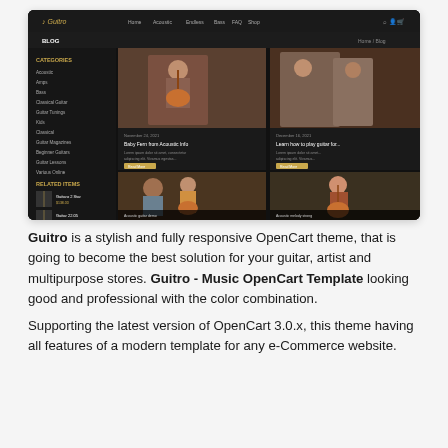[Figure (screenshot): Screenshot of the 'Guitro' OpenCart theme showing a dark-themed music store blog page with guitar-related images, a sidebar with categories and featured products, and a grid of blog post thumbnails featuring people playing guitar.]
Guitro is a stylish and fully responsive OpenCart theme, that is going to become the best solution for your guitar, artist and multipurpose stores. Guitro - Music OpenCart Template looking good and professional with the color combination.
Supporting the latest version of OpenCart 3.0.x, this theme having all features of a modern template for any e-Commerce website.